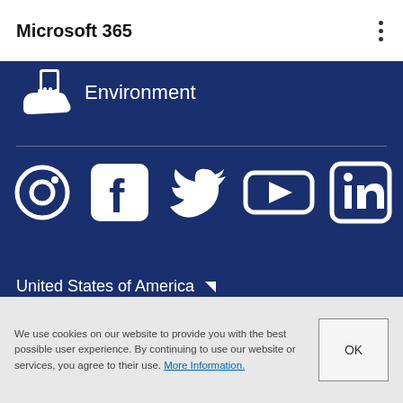Microsoft 365
Environment
[Figure (infographic): Social media icons row: Instagram, Facebook, Twitter, YouTube, LinkedIn on dark blue background]
United States of America
We use cookies on our website to provide you with the best possible user experience. By continuing to use our website or services, you agree to their use. More Information.